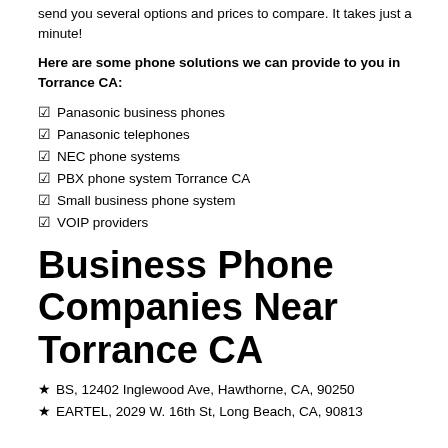send you several options and prices to compare. It takes just a minute!
Here are some phone solutions we can provide to you in Torrance CA:
Panasonic business phones
Panasonic telephones
NEC phone systems
PBX phone system Torrance CA
Small business phone system
VOIP providers
Business Phone Companies Near Torrance CA
BS, 12402 Inglewood Ave, Hawthorne, CA, 90250
EARTEL, 2029 W. 16th St, Long Beach, CA, 90813